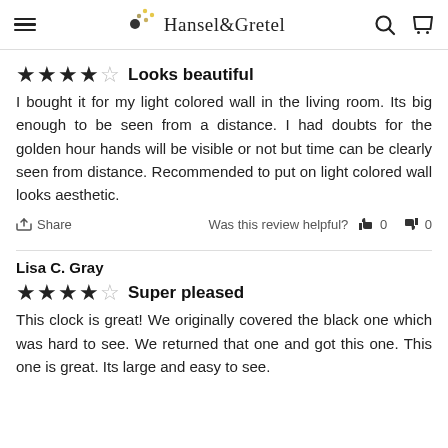Hansel & Gretel
★★★★☆ Looks beautiful
I bought it for my light colored wall in the living room. Its big enough to be seen from a distance. I had doubts for the golden hour hands will be visible or not but time can be clearly seen from distance. Recommended to put on light colored wall looks aesthetic.
Share   Was this review helpful? 👍 0 👎 0
Lisa C. Gray
★★★★☆ Super pleased
This clock is great! We originally covered the black one which was hard to see. We returned that one and got this one. This one is great. Its large and easy to see.